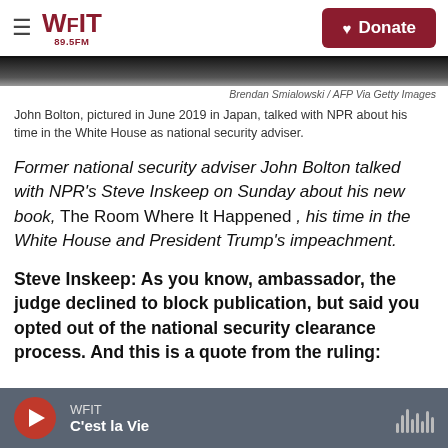WFIT 89.5FM — Donate
[Figure (photo): Partial photo of person, cropped at top of page]
Brendan Smialowski / AFP Via Getty Images
John Bolton, pictured in June 2019 in Japan, talked with NPR about his time in the White House as national security adviser.
Former national security adviser John Bolton talked with NPR's Steve Inskeep on Sunday about his new book, The Room Where It Happened , his time in the White House and President Trump's impeachment.
Steve Inskeep: As you know, ambassador, the judge declined to block publication, but said you opted out of the national security clearance process. And this is a quote from the ruling:
WFIT — C'est la Vie